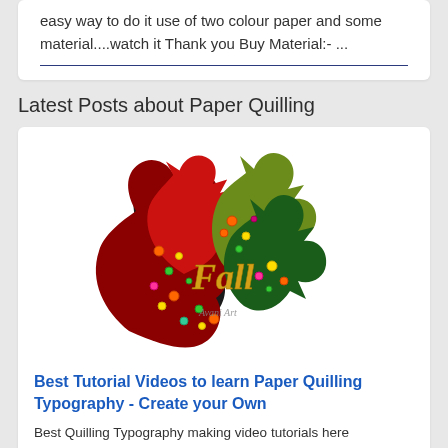easy way to do it use of two colour paper and some material....watch it Thank you Buy Material:- ...
Latest Posts about Paper Quilling
[Figure (illustration): Paper quilling art of autumn fall leaves with colorful quilled circles and the word 'Fall' in gold script, with artist signature 'Avani Art']
Best Tutorial Videos to learn Paper Quilling Typography - Create your Own
Best Quilling Typography making video tutorials here